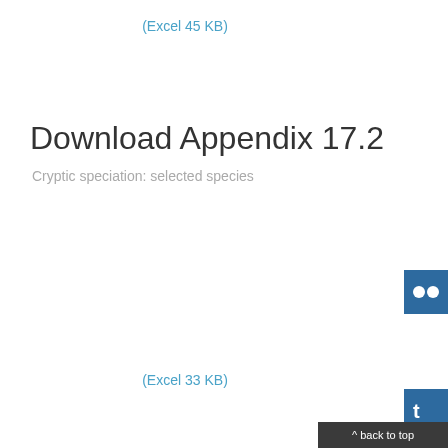(Excel 45 KB)
Download Appendix 17.2
Cryptic speciation: selected species
(Excel 33 KB)
[Figure (screenshot): Social media sharing icons on right edge: Flickr, Twitter, Google+, Instagram]
^ back to top